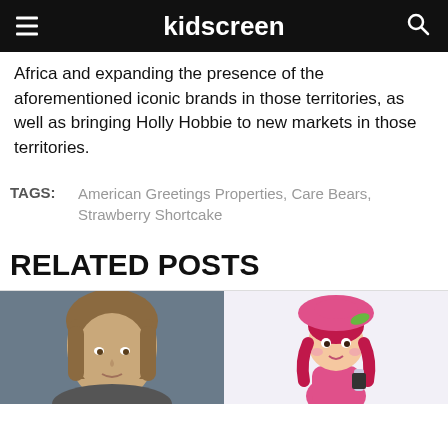kidscreen
Africa and expanding the presence of the aforementioned iconic brands in those territories, as well as bringing Holly Hobbie to new markets in those territories.
TAGS: American Greetings Properties, Care Bears, Strawberry Shortcake
RELATED POSTS
[Figure (photo): Headshot of a woman with straight brown hair against a dark gray background]
[Figure (illustration): Strawberry Shortcake cartoon character wearing a pink hat, holding a phone, with pink dress and pink hair]